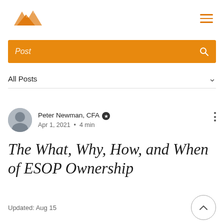[Figure (logo): Orange mountain peaks logo (Pinnacle/Summit style) in top left]
Post
All Posts ∨
Peter Newman, CFA ★  Apr 1, 2021 · 4 min
The What, Why, How, and When of ESOP Ownership
Updated: Aug 15